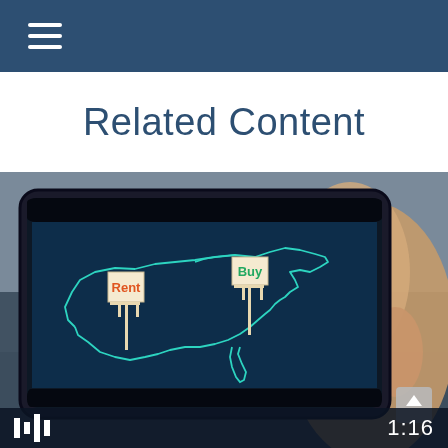Related Content
[Figure (photo): Person holding a tablet displaying a map of the United States with 'Rent' and 'Buy' real estate signs on it, suggesting a rent vs. buy comparison tool or article. The tablet has a dark blue screen with a cyan outline of the US map. Duration indicator 1:16 visible at bottom right.]